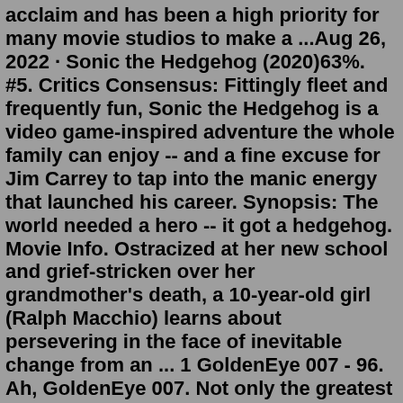acclaim and has been a high priority for many movie studios to make a ...Aug 26, 2022 · Sonic the Hedgehog (2020)63%. #5. Critics Consensus: Fittingly fleet and frequently fun, Sonic the Hedgehog is a video game-inspired adventure the whole family can enjoy -- and a fine excuse for Jim Carrey to tap into the manic energy that launched his career. Synopsis: The world needed a hero -- it got a hedgehog. Movie Info. Ostracized at her new school and grief-stricken over her grandmother's death, a 10-year-old girl (Ralph Macchio) learns about persevering in the face of inevitable change from an ... 1 GoldenEye 007 - 96. Ah, GoldenEye 007. Not only the greatest movie-based game of all time, but arguably the greatest video game of all time, period. Of course, the game has become dated as all ...Wreck-It Ralph (2012) – An arcade game villain who dreams of being a hero decides to leave his game in order to become one. Features cameos by multiple licensed video game characters like Sonic the Hedgehog, Pac-Man & Ryu. Angry Video Game Nerd: The Movie (2014) – Based